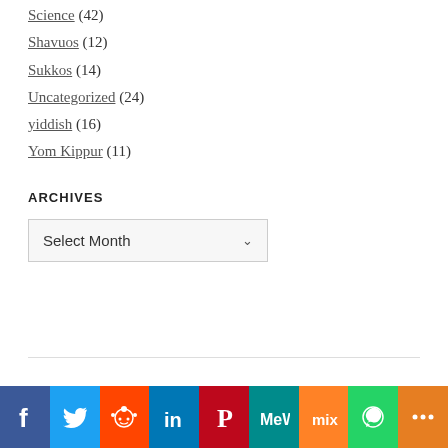Science (42)
Shavuos (12)
Sukkos (14)
Uncategorized (24)
yiddish (16)
Yom Kippur (11)
ARCHIVES
Select Month (dropdown)
Proudly powered by WordPress
[Figure (infographic): Social sharing bar with icons: Facebook (blue), Twitter (light blue), Reddit (orange-red), LinkedIn (dark blue), Pinterest (red), MeWe (teal), Mix (orange), WhatsApp (green), More (orange)]